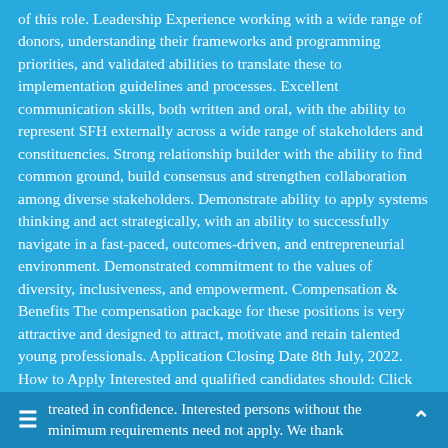of this role. Leadership Experience working with a wide range of donors, understanding their frameworks and programming priorities, and validated abilities to translate these to implementation guidelines and processes. Excellent communication skills, both written and oral, with the ability to represent SFH externally across a wide range of stakeholders and constituencies. Strong relationship builder with the ability to find common ground, build consensus and strengthen collaboration among diverse stakeholders. Demonstrate ability to apply systems thinking and act strategically, with an ability to successfully navigate in a fast-paced, outcomes-driven, and entrepreneurial environment. Demonstrated commitment to the values of diversity, inclusiveness, and empowerment. Compensation & Benefits The compensation package for these positions is very attractive and designed to attract, motivate and retain talented young professionals. Application Closing Date 8th July, 2022. How to Apply Interested and qualified candidates should: Click here to apply online Note All applications will
treated in confidence. Interested persons without the minimum requirements need not apply. We thank